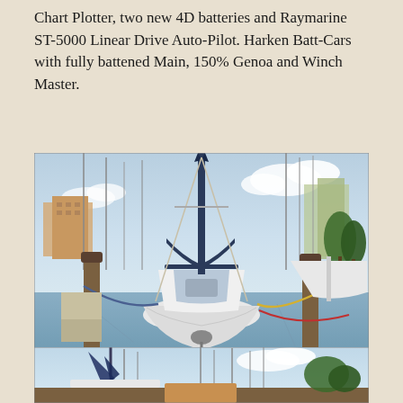Chart Plotter, two new 4D batteries and Raymarine ST-5000 Linear Drive Auto-Pilot. Harken Batt-Cars with fully battened Main, 150% Genoa and Winch Master.
[Figure (photo): Sailboat docked at a marina, viewed from the stern. White hull with blue trim, wooden dock pilings on either side, other sailboats in the background, calm water reflections, white storage box on dock in foreground.]
[Figure (photo): Partial view of sailboat mast and rigging at marina, with blue sails visible, additional masts in background against cloudy sky.]